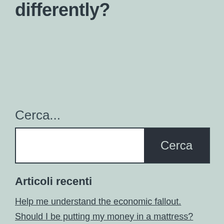differently?
Cerca...
Cerca
Articoli recenti
Help me understand the economic fallout.
Should I be putting my money in a mattress?